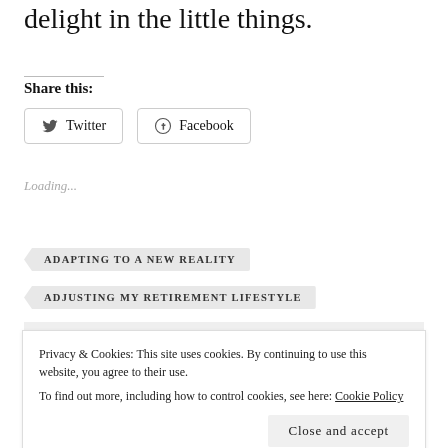delight in the little things.
Share this:
[Figure (other): Twitter and Facebook share buttons]
Loading...
ADAPTING TO A NEW REALITY
ADJUSTING MY RETIREMENT LIFESTYLE
Privacy & Cookies: This site uses cookies. By continuing to use this website, you agree to their use.
To find out more, including how to control cookies, see here: Cookie Policy
Close and accept